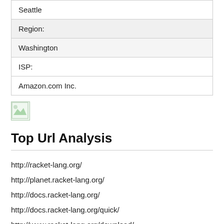| Seattle |
| Region: |
| Washington |
| ISP: |
| Amazon.com Inc. |
[Figure (illustration): Small broken/placeholder image icon with green tones]
Top Url Analysis
http://racket-lang.org/
http://planet.racket-lang.org/
http://docs.racket-lang.org/
http://docs.racket-lang.org/quick/
http://www.racket-lang.org/download/